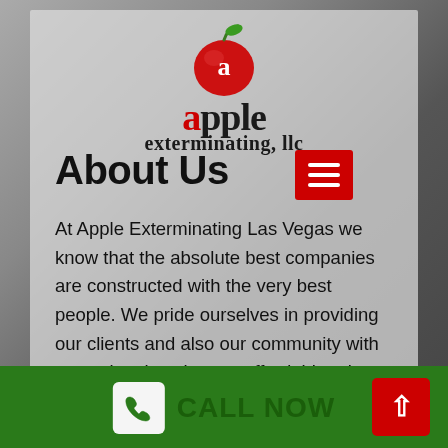[Figure (logo): Apple Exterminating LLC logo with red apple graphic and company name in serif font]
About Us
At Apple Exterminating Las Vegas we know that the absolute best companies are constructed with the very best people. We pride ourselves in providing our clients and also our community with exceptional work at an affordable price. All our work is 100% guaranteed and individualized to fit your requirements. We are delighted to supply our customers with COST-FREE estimates along with
CALL NOW